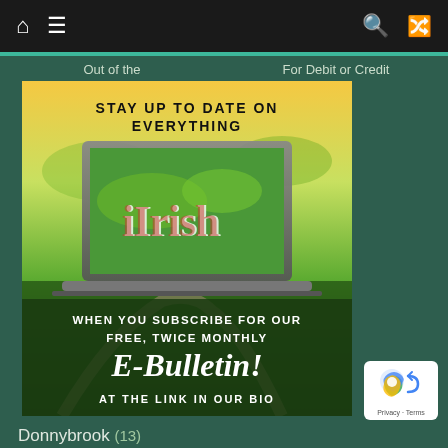Navigation bar with home, menu, search, and shuffle icons
Out of the    For Debit or Credit
[Figure (illustration): iIrish e-bulletin promotional image. Shows a laptop displaying an aerial view of green Irish countryside with the text 'iIrish' overlaid. Text reads: STAY UP TO DATE ON EVERYTHING / WHEN YOU SUBSCRIBE FOR OUR FREE, TWICE MONTHLY E-Bulletin! AT THE LINK IN OUR BIO]
Donnybrook (13)
Dr. Fitness (12)